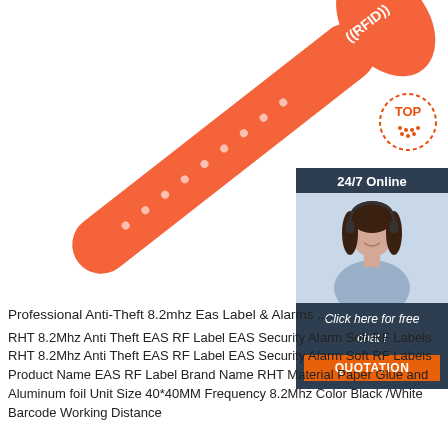[Figure (photo): Orange RFID silicone wristband with white RFID logo printed on the oval head, shown diagonally on white background. Also includes a customer service chat widget in the upper right: '24/7 Online' header, photo of a smiling woman with headset, 'Click here for free chat!' text, and orange 'QUOTATION' button.]
Professional Anti-Theft 8.2mhz Eas Label & Alarms ...
RHT 8.2Mhz Anti Theft EAS RF Label EAS Security Alarm Soft RF Labels RHT 8.2Mhz Anti Theft EAS RF Label EAS Security Alarm Soft RF Labels Product Name EAS RF Label Brand Name RHT Material Paper Glue and Aluminum foil Unit Size 40*40MM Frequency 8.2Mhz Color Black /White Barcode Working Distance